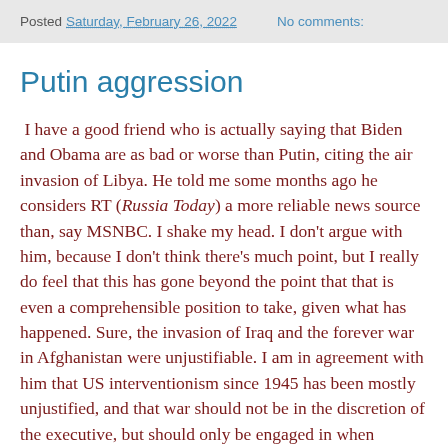Posted Saturday, February 26, 2022   No comments:
Putin aggression
I have a good friend who is actually saying that Biden and Obama are as bad or worse than Putin, citing the air invasion of Libya. He told me some months ago he considers RT (Russia Today) a more reliable news source than, say MSNBC. I shake my head. I don't argue with him, because I don't think there's much point, but I really do feel that this has gone beyond the point that that is even a comprehensible position to take, given what has happened. Sure, the invasion of Iraq and the forever war in Afghanistan were unjustifiable. I am in agreement with him that US interventionism since 1945 has been mostly unjustified, and that war should not be in the discretion of the executive, but should only be engaged in when